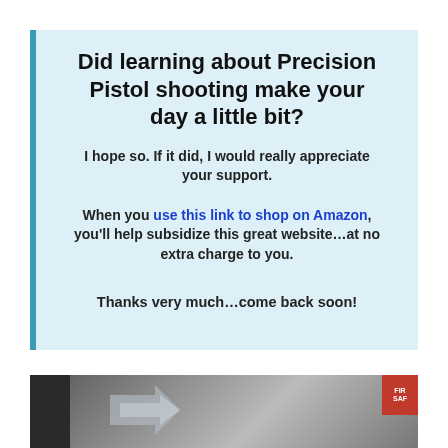Did learning about Precision Pistol shooting make your day a little bit?
I hope so. If it did, I would really appreciate your support.
When you use this link to shop on Amazon, you'll help subsidize this great website…at no extra charge to you.
Thanks very much…come back soon!
[Figure (photo): Partial photo showing what appears to be a gun safe or firearm storage, with a red FIRE SAFE badge visible in the top right corner.]